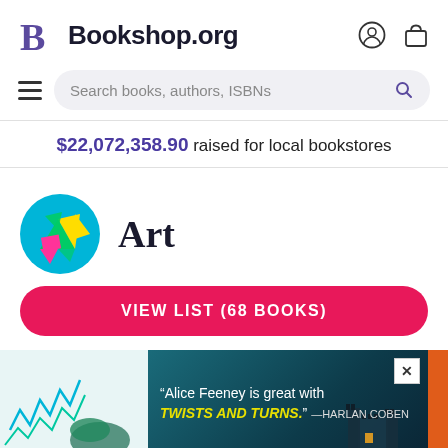Bookshop.org
Search books, authors, ISBNs
$22,072,358.90 raised for local bookstores
Art
VIEW LIST (68 BOOKS)
[Figure (screenshot): Advertisement overlay showing a quote: "Alice Feeney is great with TWISTS AND TURNS." — HARLAN COBEN, over a dark teal background with a castle silhouette. A white close button (×) is in the top right corner.]